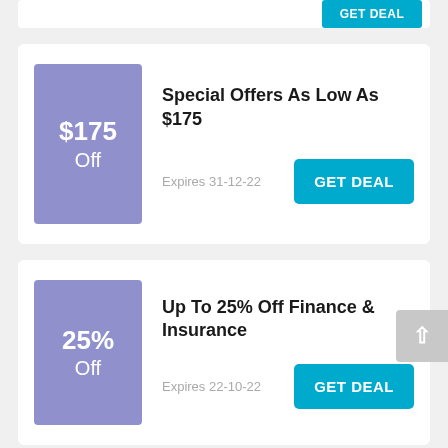[Figure (infographic): Partial coupon card visible at top with blue GET DEAL button cropped]
Special Offers As Low As $175
Expires 31-12-22
Up To 25% Off Finance & Insurance
Expires 22-10-22